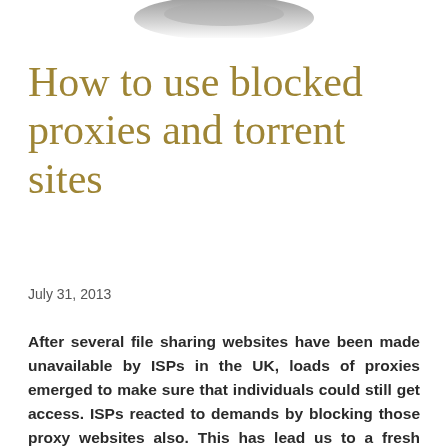[Figure (photo): Partial image of an object at the top of the page, appears to be a dark metallic or plastic item, cropped]
How to use blocked proxies and torrent sites
July 31, 2013
After several file sharing websites have been made unavailable by ISPs in the UK, loads of proxies emerged to make sure that individuals could still get access. ISPs reacted to demands by blocking those proxy websites also. This has lead us to a fresh service that makes torrent pages reachable, and, furthermore, it makes